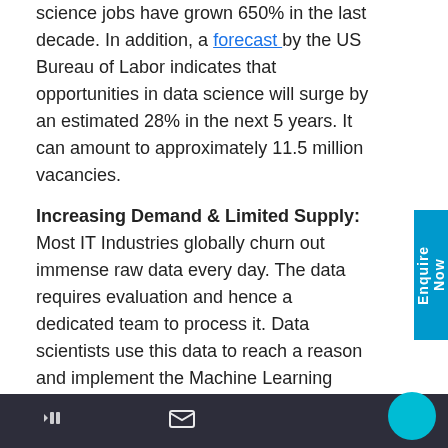science jobs have grown 650% in the last decade. In addition, a forecast by the US Bureau of Labor indicates that opportunities in data science will surge by an estimated 28% in the next 5 years. It can amount to approximately 11.5 million vacancies.
Increasing Demand & Limited Supply: Most IT Industries globally churn out immense raw data every day. The data requires evaluation and hence a dedicated team to process it. Data scientists use this data to reach a reason and implement the Machine Learning algorithm to make forecasts. However, only a handful of professionals are available for the job while the raw data piles up. It creates a great demand and supply gap for Data Scientists.